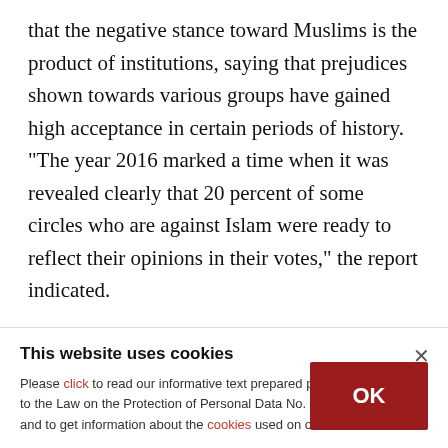that the negative stance toward Muslims is the product of institutions, saying that prejudices shown towards various groups have gained high acceptance in certain periods of history. "The year 2016 marked a time when it was revealed clearly that 20 percent of some circles who are against Islam were ready to reflect their opinions in their votes," the report indicated.

The report also revealed that German public opinion with regards of the blame on Muslim...
This website uses cookies
Please click to read our informative text prepared pursuant to the Law on the Protection of Personal Data No. 6698 and to get information about the cookies used on our